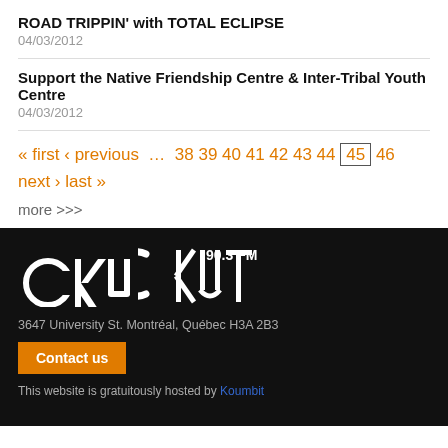ROAD TRIPPIN' with TOTAL ECLIPSE
04/03/2012
Support the Native Friendship Centre & Inter-Tribal Youth Centre
04/03/2012
« first ‹ previous … 38 39 40 41 42 43 44 45 46 next › last »
more >>>
CKUT 90.3 FM
3647 University St. Montréal, Québec H3A 2B3
Contact us
This website is gratuitously hosted by Koumbit